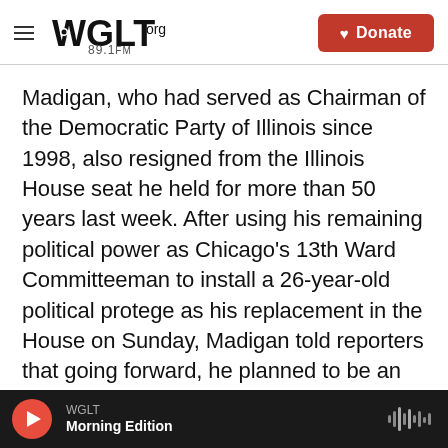WGLT.org 89.1FM | Donate
Madigan, who had served as Chairman of the Democratic Party of Illinois since 1998, also resigned from the Illinois House seat he held for more than 50 years last week. After using his remaining political power as Chicago's 13th Ward Committeeman to install a 26-year-old political protege as his replacement in the House on Sunday, Madigan told reporters that going forward, he planned to be an “active Democrat in whatever role is available to me.”

Asked if that meant he would step down from his
WGLT | Morning Edition